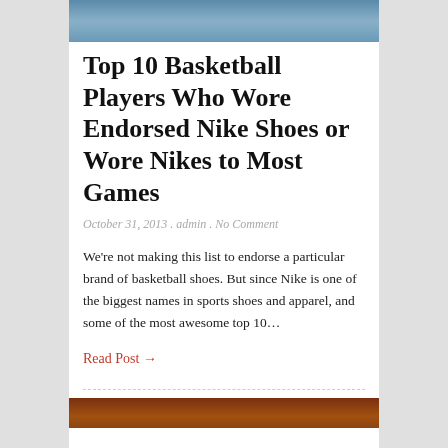[Figure (photo): Cropped top portion of a basketball player photo]
Top 10 Basketball Players Who Wore Endorsed Nike Shoes or Wore Nikes to Most Games
October 31, 2013 . admin . No Comment
We're not making this list to endorse a particular brand of basketball shoes. But since Nike is one of the biggest names in sports shoes and apparel, and some of the most awesome top 10&hellip;
Read Post →
[Figure (photo): Partial bottom image, cropped, showing reddish-brown tones]